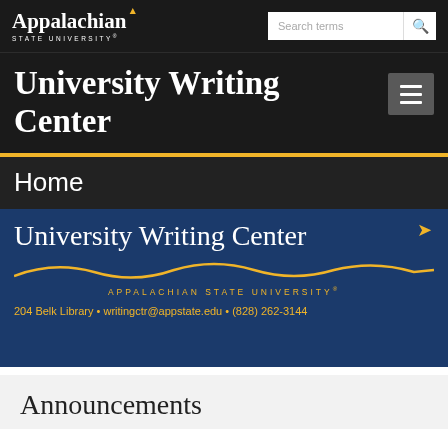Appalachian State University
University Writing Center
Home
[Figure (logo): University Writing Center banner logo with Appalachian State University branding, gold wave decoration, and contact information: 204 Belk Library • writingctr@appstate.edu • (828) 262-3144]
Announcements